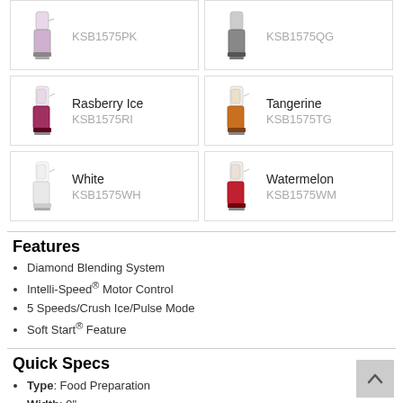[Figure (other): Product grid showing blenders: Rasberry Ice KSB1575RI, Tangerine KSB1575TG (top row); White KSB1575WH, Watermelon KSB1575WM (bottom row), plus partial top row with KSB1575PK and KSB1575QG]
Features
Diamond Blending System
Intelli-Speed® Motor Control
5 Speeds/Crush Ice/Pulse Mode
Soft Start® Feature
Quick Specs
Type: Food Preparation
Width: 9"
Height: 16.5"
Depth: 8.5"